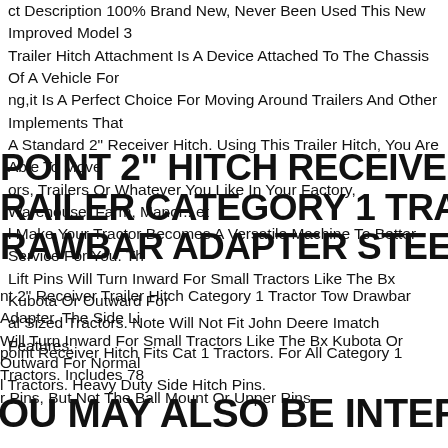ct Description 100% Brand New, Never Been Used This New Improved Model 3 Trailer Hitch Attachment Is A Device Attached To The Chassis Of A Vehicle For ng,it Is A Perfect Choice For Moving Around Trailers And Other Implements That A Standard 2" Receiver Hitch. Using This Trailer Hitch, You Are Able To Move ors, Trailers Or Whatever You Like In Your Factory, Warehouse, Farm, Manor...et l Make Your Tractor Becomes A Versatile Machine To Better Service For You. Th Lift Pins Will Turn Inward For Small Tractors Like The Bx Kubota Or Outward For al Sized Tractors. Note Will Not Fit John Deere Imatch Features.
POINT 2" HITCH RECEIVER RAILER CATEGORY 1 TRACTOR TOW RAWBAR ADAPTER STEEL
nt 2" Receiver Trailer Hitch Category 1 Tractor Tow Drawbar Adapter. The Side Li Will Turn Inward For Small Tractors Like The Bx Kubota Or Outward For Normal l Tractors. Heavy Duty Side Hitch Pins.
point Receiver Hitch Fits Cat 1 Tractors. For All Category 1 Tractors. Includes 78 r Pins, But Not The Ball Mount Or Upper Pins.
OU MAY ALSO BE INTERESTED IN